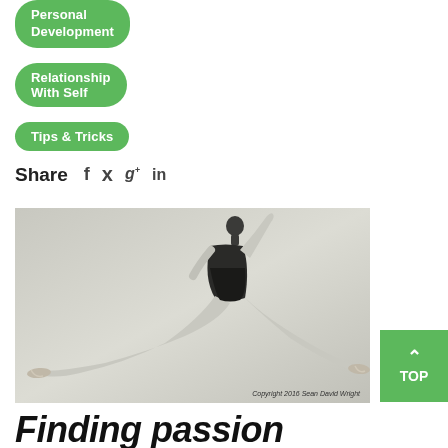Personal Development
Relationship With Self
Tips & Tricks
Share
[Figure (photo): Black and white photo of a ballet dancer in splits position, arms raised. Copyright 2016 Sean David Wright.]
Finding passion